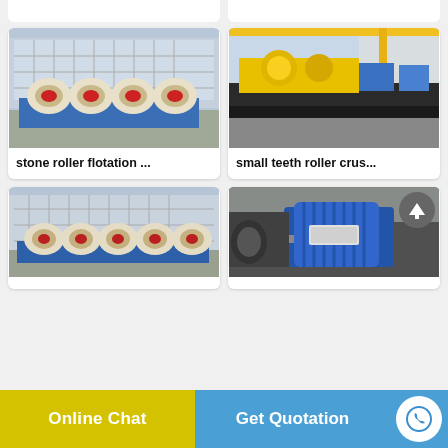[Figure (photo): Stone roller flotation machines (cream/blue colored) lined up in an outdoor industrial yard]
stone roller flotation ...
[Figure (photo): Small teeth roller crusher — yellow heavy industrial machinery on a flatbed, with blue motors]
small teeth roller crus...
[Figure (photo): Stone roller flotation machines (cream/blue) lined up in outdoor yard, similar to top-left]
[Figure (photo): Blue electric motor / industrial machine in a workshop setting, with scroll-to-top button overlay]
Online Chat
Get Quotation